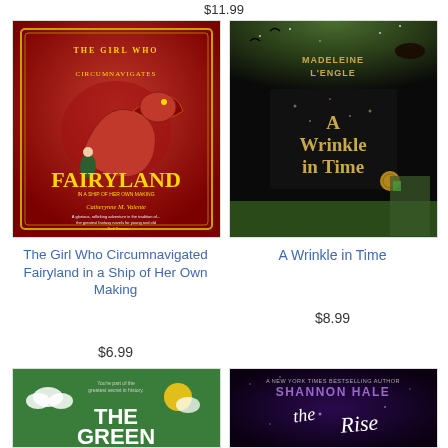$11.99
[Figure (photo): Book cover: The Girl Who Circumnavigated Fairyland in a Ship of Her Own Making - red/orange cover with dragon and girl illustration]
The Girl Who Circumnavigated Fairyland in a Ship of Her Own Making
$6.99
[Figure (photo): Book cover: A Wrinkle in Time by Madeleine L'Engle - dark cover with golden text and fantasy scene]
A Wrinkle in Time
$8.99
[Figure (photo): Book cover: The Green - green cover with white cloud illustrations and bold white title text]
[Figure (photo): Book cover: The Rise by Shannon Hale - dark purple cover with swirling text]